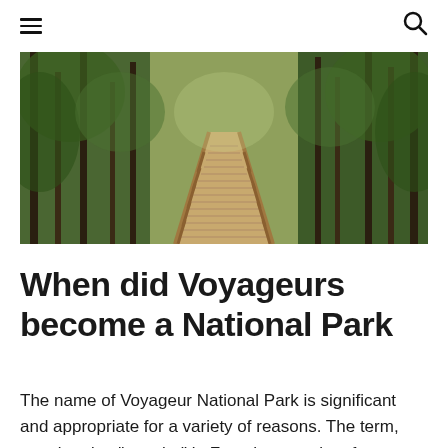≡  🔍
[Figure (photo): A wooden boardwalk bridge perspective shot leading through a lush green forest with tall conifer trees on both sides, viewed from a low angle looking straight ahead.]
When did Voyageurs become a National Park
The name of Voyageur National Park is significant and appropriate for a variety of reasons. The term, translated to "traveler" in French, not only references the journey required